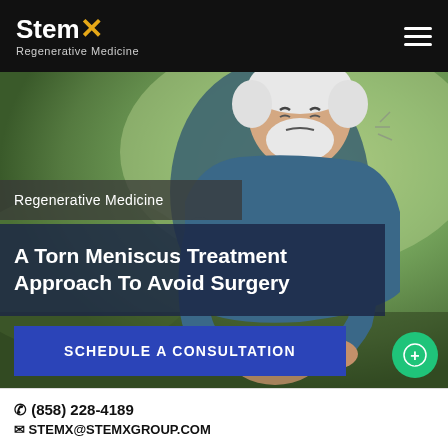StemX Regenerative Medicine
[Figure (photo): Elderly man with white hair and beard, wearing a blue athletic shirt, grimacing in pain while clutching his knee — outdoors with a blurred green park background.]
Regenerative Medicine
A Torn Meniscus Treatment Approach To Avoid Surgery
SCHEDULE A CONSULTATION
☎ (858) 228-4189
✉ STEMX@STEMXGROUP.COM